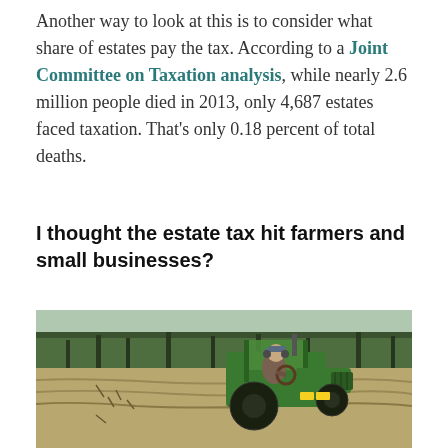Another way to look at this is to consider what share of estates pay the tax. According to a Joint Committee on Taxation analysis, while nearly 2.6 million people died in 2013, only 4,687 estates faced taxation. That's only 0.18 percent of total deaths.
I thought the estate tax hit farmers and small businesses?
[Figure (photo): A person wearing a cap and ear protection riding a green John Deere tractor on a farm field, with trees in the background and freshly plowed earth visible.]